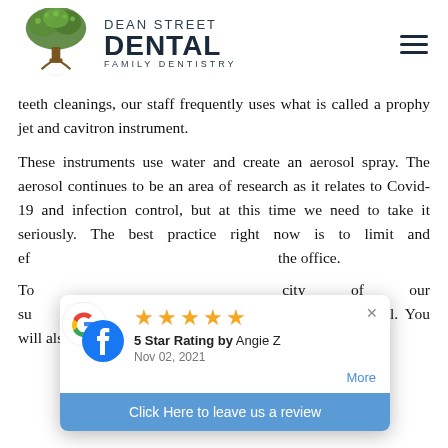[Figure (logo): Dean Street Dental Family Dentistry logo with tree and tooth illustration]
teeth cleanings, our staff frequently uses what is called a prophy jet and cavitron instrument.
These instruments use water and create an aerosol spray. The aerosol continues to be an area of research as it relates to Covid-19 and infection control, but at this time we need to take it seriously. The best practice right now is to limit and ef[fectively manage aerosols produced within] the office.
To [protect the safety and capac]ity of our su[rfaces and equipment from ambien]t aerosol removal. You will also notice shields with additional
[Figure (screenshot): Google/Facebook review popup showing 5 Star Rating by Angie Z, Nov 02, 2021, with a Click Here to leave us a review button]